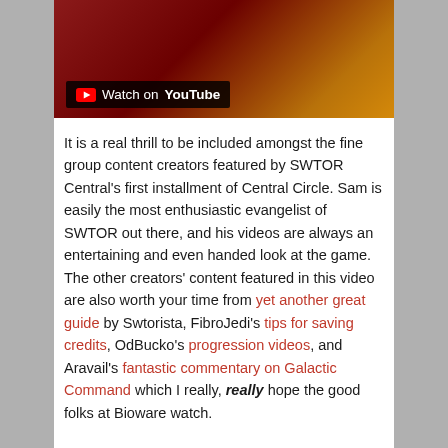[Figure (screenshot): YouTube video thumbnail showing 'Watch on YouTube' badge over a dark red and orange background]
It is a real thrill to be included amongst the fine group content creators featured by SWTOR Central's first installment of Central Circle. Sam is easily the most enthusiastic evangelist of SWTOR out there, and his videos are always an entertaining and even handed look at the game. The other creators' content featured in this video are also worth your time from yet another great guide by Swtorista, FibroJedi's tips for saving credits, OdBucko's progression videos, and Aravail's fantastic commentary on Galactic Command which I really, really hope the good folks at Bioware watch.